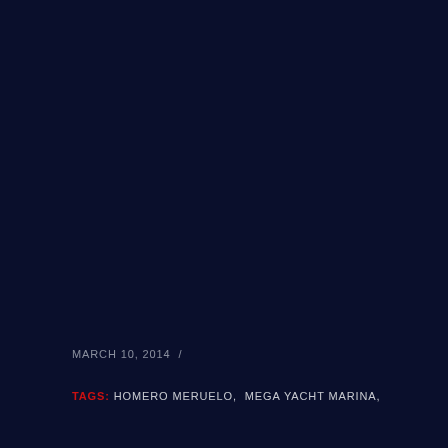MARCH 10, 2014  /
TAGS: HOMERO MERUELO, MEGA YACHT MARINA,